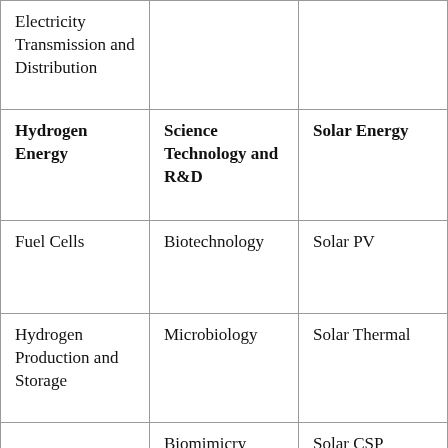| Electricity Transmission and Distribution |  |  |
| Hydrogen Energy | Science Technology and R&D | Solar Energy |
| Fuel Cells | Biotechnology | Solar PV |
| Hydrogen Production and Storage | Microbiology | Solar Thermal |
|  | Biomimicry | Solar CSP |